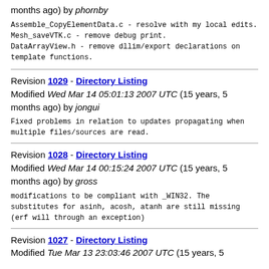months ago) by phornby
Assemble_CopyElementData.c - resolve with my local edits.
Mesh_saveVTK.c - remove debug print.
DataArrayView.h - remove dllim/export declarations on template functions.
Revision 1029 - Directory Listing
Modified Wed Mar 14 05:01:13 2007 UTC (15 years, 5 months ago) by jongui
Fixed problems in relation to updates propagating when multiple files/sources are read.
Revision 1028 - Directory Listing
Modified Wed Mar 14 00:15:24 2007 UTC (15 years, 5 months ago) by gross
modifications to be compliant with _WIN32. The substitutes for asinh, acosh, atanh are still missing (erf will through an exception)
Revision 1027 - Directory Listing
Modified Tue Mar 13 23:03:46 2007 UTC (15 years, 5